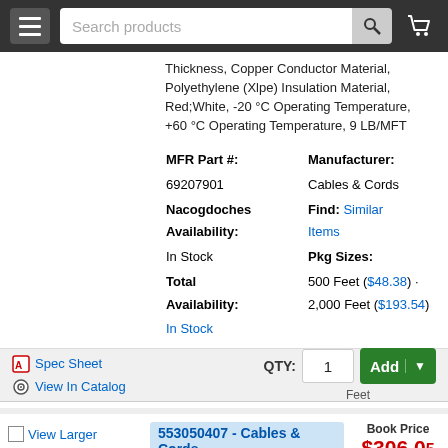Search products [search bar with magnifying glass icon] [hamburger menu] [cart icon]
Thickness, Copper Conductor Material, Polyethylene (Xlpe) Insulation Material, Red;White, -20 °C Operating Temperature, +60 °C Operating Temperature, 9 LB/MFT
| Field | Value |
| --- | --- |
| MFR Part #: | Manufacturer: |
| 69207901 | Cables & Cords |
| Nacogdoches Availability: | Find: Similar Items |
| In Stock | Pkg Sizes: |
| Total Availability: | 500 Feet ($48.38) · 2,000 Feet ($193.54) |
| In Stock |  |
Spec Sheet  View In Catalog
QTY: 1  Feet  Add
553050407 - Cables & Cords
Thermostat Wire, Solid, 5 Conductors, #18 Awg Conductor Size, 150 V, 250 FT Overall Length, 0.17 In Outside Diameter, 0.006 In Insulation Thickness, Copper Conductor Material, Polypropylene Insulation Material, Red;White;Green;Blue;Yellow, -20 °C Operating Temperature, +60 °C
Book Price $306.05 Per 1,000 Feet